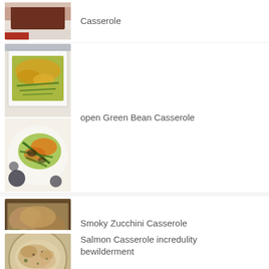[Figure (photo): Partial view of a casserole dish with dark food on a white plate, cropped at top]
Casserole
[Figure (photo): White baking dish with green bean casserole topped with crispy onions]
[Figure (photo): Green beans and squash on a decorative plate with floral pattern]
open Green Bean Casserole
[Figure (photo): Baking dish with smoky zucchini casserole, golden brown top]
Smoky Zucchini Casserole
[Figure (photo): Round dish with salmon casserole, lightly browned top]
Salmon Casserole incredulity bewilderment